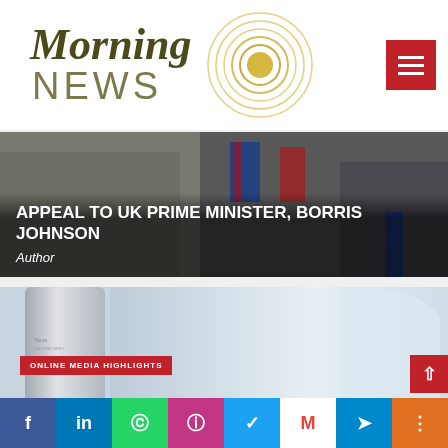[Figure (logo): Morning News logo with concentric gold circles and serif italic Morning text]
[Figure (photo): News article hero image showing people with UK flag, overlaid with headline APPEAL TO UK PRIME MINISTER, BORRIS JOHNSON and Author byline]
APPEAL TO UK PRIME MINISTER, BORRIS JOHNSON
Author
[Figure (photo): Product image of Huawei Nova 7i smartphone in silver color with blue-grey background]
ONLINE MEDIA HIGHLIGHTS
Huawei Nova 7i launched in fresh Skyline Grey...